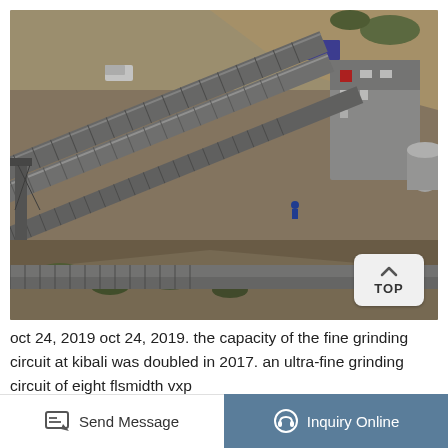[Figure (photo): Aerial drone view of a mining conveyor belt system and processing facility at a mine site. Multiple long conveyor belts are visible running diagonally, along with industrial buildings, earthworks, dirt roads, and a white vehicle. The scene shows a large-scale mining operation with grey industrial structures.]
oct 24, 2019 oct 24, 2019. the capacity of the fine grinding circuit at kibali was doubled in 2017. an ultra-fine grinding circuit of eight flsmidth vxp
Send Message
Inquiry Online